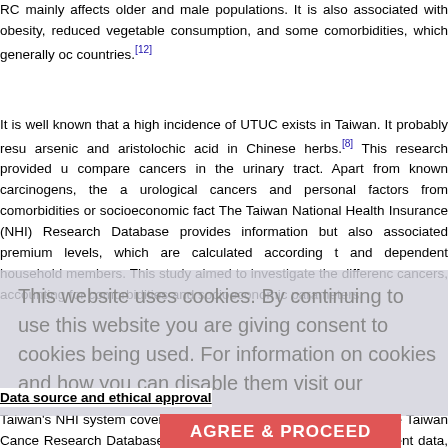RC mainly affects older and male populations. It is also associated with obesity, reduced vegetable consumption, and some comorbidities, which generally occur in countries.[12]
It is well known that a high incidence of UTUC exists in Taiwan. It probably results from arsenic and aristolochic acid in Chinese herbs.[8] This research provided us to compare cancers in the urinary tract. Apart from known carcinogens, the association of urological cancers and personal factors from comorbidities or socioeconomic factors vary. The Taiwan National Health Insurance (NHI) Research Database provides not only information but also associated premium levels, which are calculated according to employees and dependent household members. This study aimed to investigate the differences in urological cancers, accounting for comorbidities and socioeconomic parameters.
Materials and Methods
This website uses cookies. By continuing to use this website you are giving consent to cookies being used. For information on cookies and how you can disable them visit our
Data source and ethical approval
Taiwan's NHI system covers over 99% of the population. Using the Taiwan Cancer Research Database (LGTD2000), of 2 million people, patient data, including personal and all medical records from 2000 to 2010, were retrieved. Patient information including diagnosis date, gender, residency, employment status, income inferred from insurance, and lifestyle and clinical treatment information. The disease covers renal cell carcinoma (RCC)...